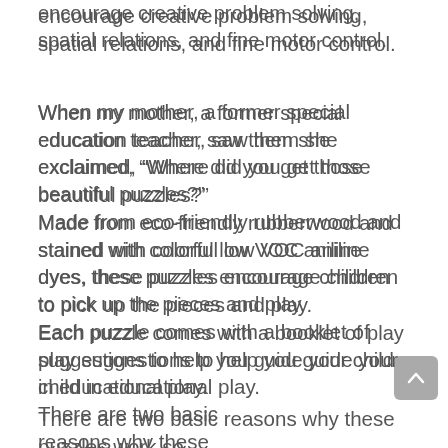encourage creative problem solving, spatial relations, and fine motor control.
When my mother, a former special education teacher, saw them she exclaimed, “Where did you get those beautiful puzzles?”
Made from eco-friendly rubberwood and stained with colorful low VOC aniline dyes, these puzzles encourage children to pick up the pieces and play.
Each puzzle comes with a booklet of play suggestions to help you guide your child in educational play.
There are two basic reasons why these puzzles work so well, besides the fact that they are just plain fun!
First, is the “tell me and I’ll forget, show me and I’ll